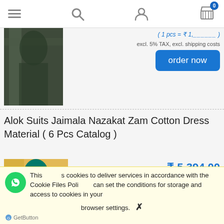[Figure (screenshot): E-commerce website navigation bar with hamburger menu, search icon, user icon, and cart icon with badge showing 0]
[Figure (photo): Partial view of a dark patterned dress suit product image]
( 1 pcs = ₹ 1,________ )
excl. 5% TAX, excl. shipping costs
order now
Alok Suits Jaimala Nazakat Zam Cotton Dress Material ( 6 Pcs Catalog )
[Figure (photo): Teal/green colored dress suit product image]
₹ 5,394.00
( 1 pcs = ₹ 899.00 )
excl. 5% TAX, excl. shipping costs
This site uses cookies to deliver services in accordance with the Cookie Files Policy. You can set the conditions for storage and access to cookies in your browser settings.